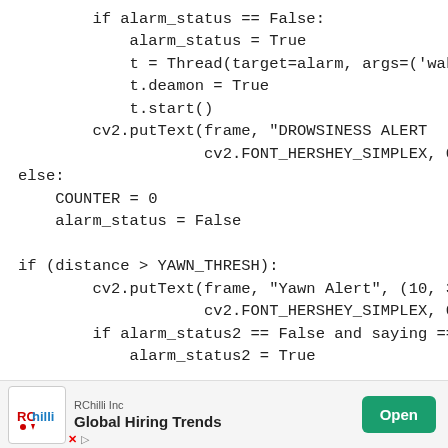if alarm_status == False:
    alarm_status = True
    t = Thread(target=alarm, args=('wake up
    t.deamon = True
    t.start()
cv2.putText(frame, "DROWSINESS ALERT
            cv2.FONT_HERSHEY_SIMPLEX, 0
else:
    COUNTER = 0
    alarm_status = False

if (distance > YAWN_THRESH):
        cv2.putText(frame, "Yawn Alert", (10, 30),
            cv2.FONT_HERSHEY_SIMPLEX, 0
        if alarm_status2 == False and saying == Fa
            alarm_status2 = True
[Figure (other): Advertisement banner: RChilli Inc - Global Hiring Trends with Open button]